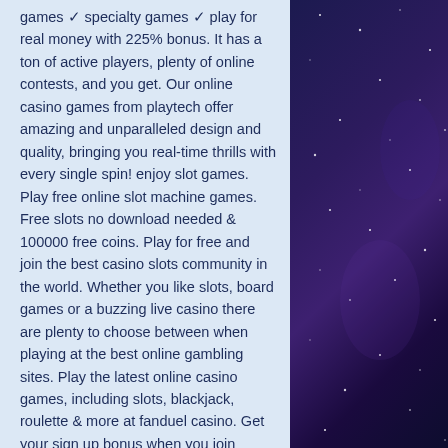games ✓ specialty games ✓ play for real money with 225% bonus. It has a ton of active players, plenty of online contests, and you get. Our online casino games from playtech offer amazing and unparalleled design and quality, bringing you real-time thrills with every single spin! enjoy slot games. Play free online slot machine games. Free slots no download needed &amp; 100000 free coins. Play for free and join the best casino slots community in the world. Whether you like slots, board games or a buzzing live casino there are plenty to choose between when playing at the best online gambling sites. Play the latest online casino games, including slots, blackjack, roulette &amp; more at fanduel casino. Get your sign up bonus when you join today! No wagering requirements, money back on every bet, fast payouts &amp; the latest online slots and casino games ➤ get free